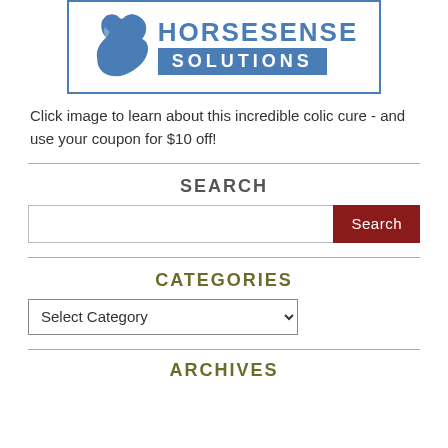[Figure (logo): HorseSense Solutions logo — blue bordered rectangle containing a blue horse head silhouette and the text HORSESENSE in blue uppercase with SOLUTIONS on a blue background bar below.]
Click image to learn about this incredible colic cure - and use your coupon for $10 off!
SEARCH
Search input box with Search button
CATEGORIES
Select Category dropdown
ARCHIVES